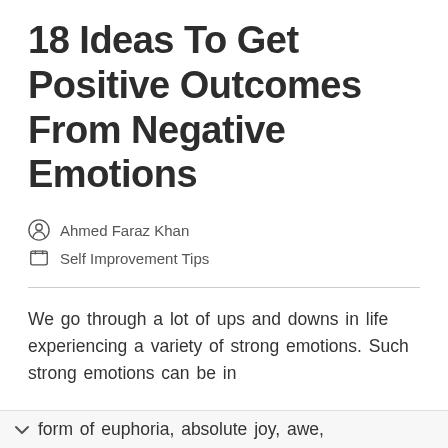18 Ideas To Get Positive Outcomes From Negative Emotions
Ahmed Faraz Khan
Self Improvement Tips
We go through a lot of ups and downs in life experiencing a variety of strong emotions. Such strong emotions can be in the form of euphoria, absolute joy, awe,